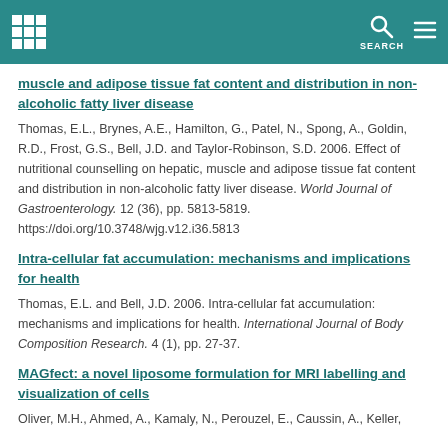SEARCH
muscle and adipose tissue fat content and distribution in non-alcoholic fatty liver disease
Thomas, E.L., Brynes, A.E., Hamilton, G., Patel, N., Spong, A., Goldin, R.D., Frost, G.S., Bell, J.D. and Taylor-Robinson, S.D. 2006. Effect of nutritional counselling on hepatic, muscle and adipose tissue fat content and distribution in non-alcoholic fatty liver disease. World Journal of Gastroenterology. 12 (36), pp. 5813-5819. https://doi.org/10.3748/wjg.v12.i36.5813
Intra-cellular fat accumulation: mechanisms and implications for health
Thomas, E.L. and Bell, J.D. 2006. Intra-cellular fat accumulation: mechanisms and implications for health. International Journal of Body Composition Research. 4 (1), pp. 27-37.
MAGfect: a novel liposome formulation for MRI labelling and visualization of cells
Oliver, M.H., Ahmed, A., Kamaly, N., Perouzel, E., Caussin, A., Keller,